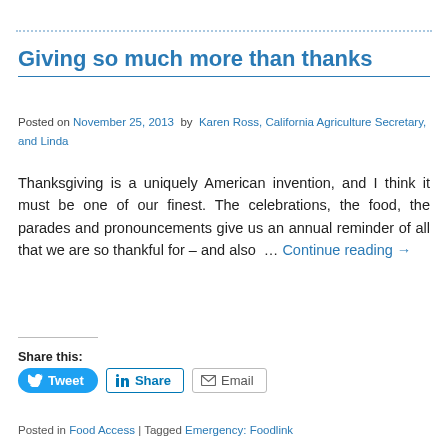Giving so much more than thanks
Posted on November 25, 2013  by  Karen Ross, California Agriculture Secretary, and Linda
Thanksgiving is a uniquely American invention, and I think it must be one of our finest. The celebrations, the food, the parades and pronouncements give us an annual reminder of all that we are so thankful for – and also … Continue reading →
Share this:
Posted in Food Access | Tagged Emergency: Foodlink